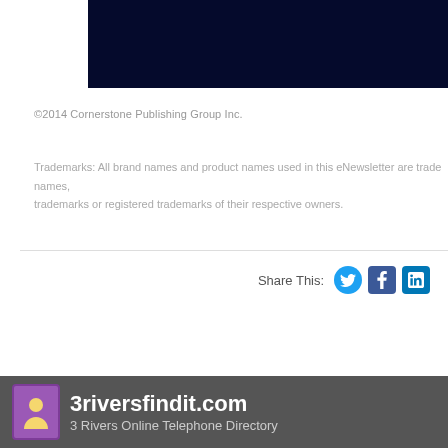[Figure (other): Dark navy blue banner/header bar]
©2014 Cornerstone Publishing Group Inc.
Trademarks: All brand names and product names used in this eNewsletter are trade names, trademarks or registered trademarks of their respective owners.
[Figure (infographic): Share This: with Twitter, Facebook, and LinkedIn social media icons]
[Figure (logo): 3riversfindit.com logo with purple person icon on dark grey footer bar]